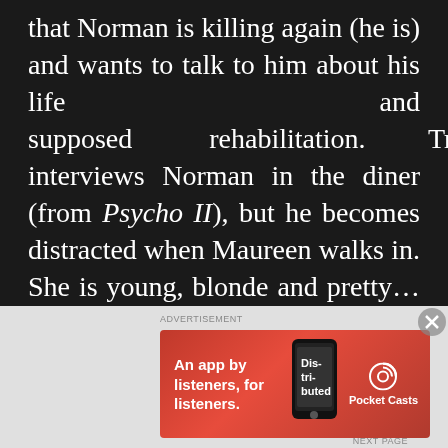that Norman is killing again (he is) and wants to talk to him about his life and supposed rehabilitation. Tracy interviews Norman in the diner (from Psycho II), but he becomes distracted when Maureen walks in. She is young, blonde and pretty… very much like Marion Crane… oh and Maureen is also carrying a suitcase with her initials… MC. Norman has a flashback to him/mother murdering Marion in the shower. Maureen is looking for
[Figure (screenshot): Advertisement banner for Pocket Casts app with red background, showing text 'An app by listeners, for listeners.' and the Pocket Casts logo with a phone showing the 'Distributed' podcast app]